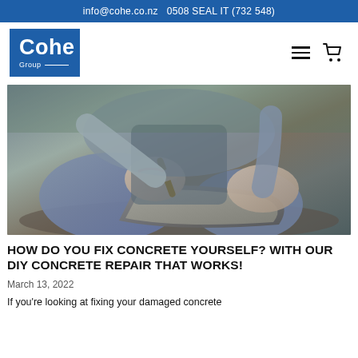info@cohe.co.nz   0508 SEAL IT (732 548)
[Figure (logo): Cohe Group logo — white text on blue background square]
[Figure (photo): Person wearing work gloves mixing or scooping concrete with a trowel in a metal trough]
HOW DO YOU FIX CONCRETE YOURSELF? WITH OUR DIY CONCRETE REPAIR THAT WORKS!
March 13, 2022
If you're looking at fixing your damaged concrete